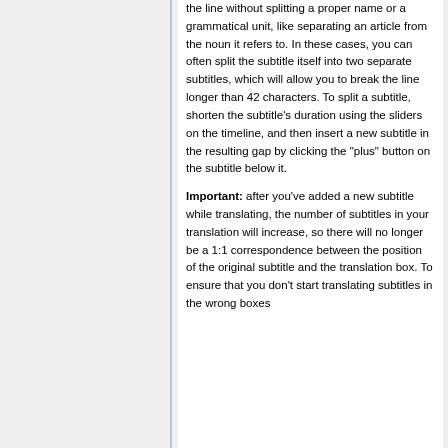the line without splitting a proper name or a grammatical unit, like separating an article from the noun it refers to. In these cases, you can often split the subtitle itself into two separate subtitles, which will allow you to break the line longer than 42 characters. To split a subtitle, shorten the subtitle's duration using the sliders on the timeline, and then insert a new subtitle in the resulting gap by clicking the "plus" button on the subtitle below it.
Important: after you've added a new subtitle while translating, the number of subtitles in your translation will increase, so there will no longer be a 1:1 correspondence between the position of the original subtitle and the translation box. To ensure that you don't start translating subtitles in the wrong boxes